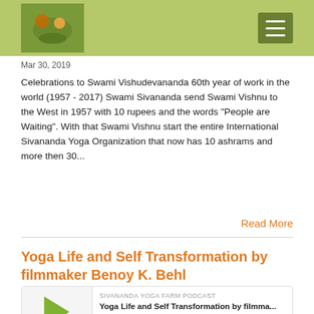Mar 30, 2019
Celebrations to Swami Vishudevananda 60th year of work in the world (1957 - 2017) Swami Sivananda send Swami Vishnu to the West in 1957 with 10 rupees and the words "People are Waiting". With that Swami Vishnu start the entire International Sivananda Yoga Organization that now has 10 ashrams and more then 30...
Read More
Yoga Life and Self Transformation by filmmaker Benoy K. Behl
[Figure (other): Podcast player widget for 'Yoga Life and Self Transformation by filmma...' from Sivananda Yoga Farm Podcast, showing play button, episode title, progress bar, time 00:00:00, and media control icons]